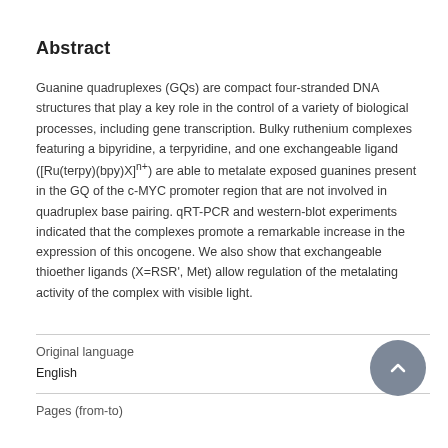Abstract
Guanine quadruplexes (GQs) are compact four-stranded DNA structures that play a key role in the control of a variety of biological processes, including gene transcription. Bulky ruthenium complexes featuring a bipyridine, a terpyridine, and one exchangeable ligand ([Ru(terpy)(bpy)X]n+) are able to metalate exposed guanines present in the GQ of the c-MYC promoter region that are not involved in quadruplex base pairing. qRT-PCR and western-blot experiments indicated that the complexes promote a remarkable increase in the expression of this oncogene. We also show that exchangeable thioether ligands (X=RSR', Met) allow regulation of the metalating activity of the complex with visible light.
Original language
English
Pages (from-to)